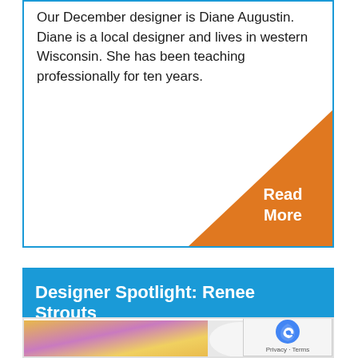Our December designer is Diane Augustin. Diane is a local designer and lives in western Wisconsin. She has been teaching professionally for ten years.
[Figure (infographic): Orange triangle in bottom-right corner of card with 'Read More' text in white bold font]
Designer Spotlight: Renee Strouts
[Figure (photo): Photo of a yellow and pink/purple crocheted item next to a white mug, with a reCAPTCHA Privacy/Terms badge overlay in the bottom right]